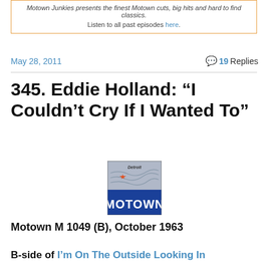Motown Junkies presents the finest Motown cuts, big hits and hard to find classics.

Listen to all past episodes here.
May 28, 2011
19 Replies
345. Eddie Holland: “I Couldn’t Cry If I Wanted To”
[Figure (logo): Motown record label logo: orange star on grey map of Detroit, blue banner with MOTOWN text in white]
Motown M 1049 (B), October 1963
B-side of I’m On The Outside Looking In